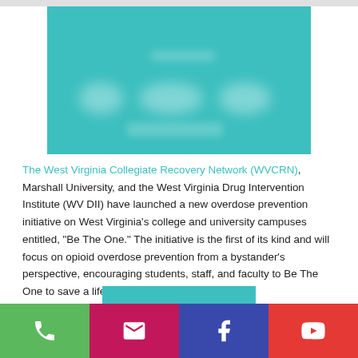[Figure (photo): Teal/turquoise background image with blurred white content elements, likely the Be The One initiative graphic]
The West Virginia Collegiate Recovery Network (WVCRN), Marshall University, and the West Virginia Drug Intervention Institute (WV DII) have launched a new overdose prevention initiative on West Virginia's college and university campuses entitled, “Be The One.” The initiative is the first of its kind and will focus on opioid overdose prevention from a bystander’s perspective, encouraging students, staff, and faculty to Be The One to save a life.
[Figure (other): Bottom navigation bar with phone, email, Facebook, and YouTube icon buttons in green, magenta, blue, and red respectively]